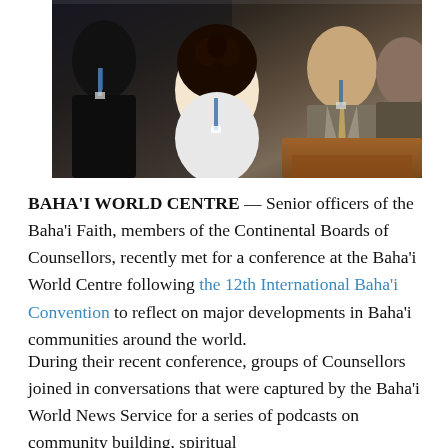[Figure (photo): Group of people in conversation at a conference, including individuals with conference lanyards/badges, one person with curly hair visible from behind, seated and engaged in discussion.]
BAHA'I WORLD CENTRE — Senior officers of the Baha'i Faith, members of the Continental Boards of Counsellors, recently met for a conference at the Baha'i World Centre following the 12th International Baha'i Convention to reflect on major developments in Baha'i communities around the world.
During their recent conference, groups of Counsellors joined in conversations that were captured by the Baha'i World News Service for a series of podcasts on community building, spiritual